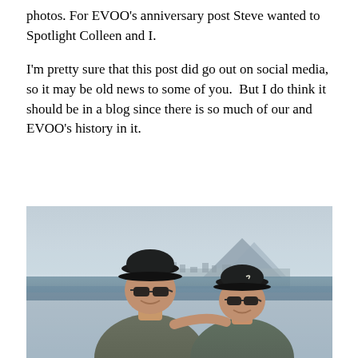photos. For EVOO's anniversary post Steve wanted to Spotlight Colleen and I.
I'm pretty sure that this post did go out on social media, so it may be old news to some of you.  But I do think it should be in a blog since there is so much of our and EVOO's history in it.
[Figure (photo): Two people wearing dark baseball caps and sunglasses posing for a selfie outdoors, with a coastal town and mountain visible in the background under a hazy sky.]